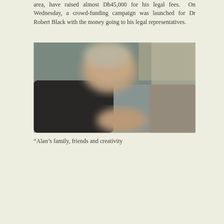area, have raised almost Dh45,000 for his legal fees. On Wednesday, a crowd-funding campaign was launched for Dr Robert Black with the money going to his legal representatives.
[Figure (photo): A blurred photograph of a person, partially obscured, showing upper body. The image is blurred for privacy or editorial reasons.]
“Alan’s family, friends and creativity